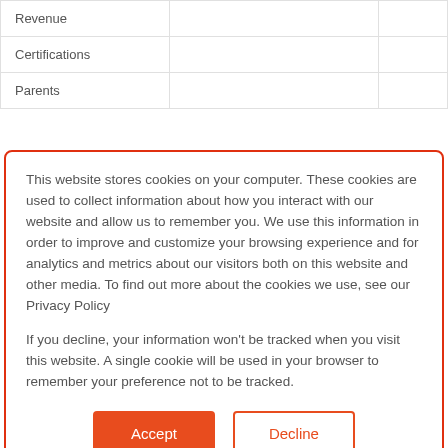|  |  |
| --- | --- |
| Revenue |  |
| Certifications |  |
| Parents |  |
This website stores cookies on your computer. These cookies are used to collect information about how you interact with our website and allow us to remember you. We use this information in order to improve and customize your browsing experience and for analytics and metrics about our visitors both on this website and other media. To find out more about the cookies we use, see our Privacy Policy

If you decline, your information won't be tracked when you visit this website. A single cookie will be used in your browser to remember your preference not to be tracked.